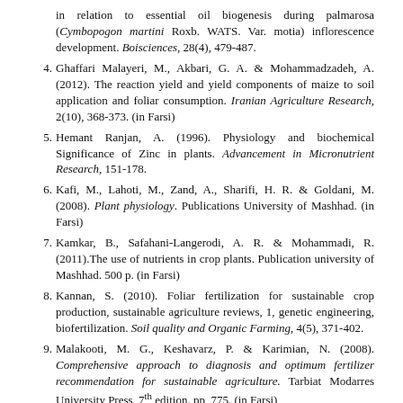(continuation) in relation to essential oil biogenesis during palmarosa (Cymbopogon martini Roxb. WATS. Var. motia) inflorescence development. Boisciences, 28(4), 479-487.
4. Ghaffari Malayeri, M., Akbari, G. A. & Mohammadzadeh, A. (2012). The reaction yield and yield components of maize to soil application and foliar consumption. Iranian Agriculture Research, 2(10), 368-373. (in Farsi)
5. Hemant Ranjan, A. (1996). Physiology and biochemical Significance of Zinc in plants. Advancement in Micronutrient Research, 151-178.
6. Kafi, M., Lahoti, M., Zand, A., Sharifi, H. R. & Goldani, M. (2008). Plant physiology. Publications University of Mashhad. (in Farsi)
7. Kamkar, B., Safahani-Langerodi, A. R. & Mohammadi, R. (2011).The use of nutrients in crop plants. Publication university of Mashhad. 500 p. (in Farsi)
8. Kannan, S. (2010). Foliar fertilization for sustainable crop production, sustainable agriculture reviews, 1, genetic engineering, biofertilization. Soil quality and Organic Farming, 4(5), 371-402.
9. Malakooti, M. G., Keshavarz, P. & Karimian, N. (2008). Comprehensive approach to diagnosis and optimum fertilizer recommendation for sustainable agriculture. Tarbiat Modarres University Press, 7th edition. pp, 775. (in Farsi)
10. Marschner, H. (1995). Mineral nutrition of higher plants. Second edition, Academic Press Limited. Harcourt Brace and Company, Publishers, London, pp. 347-364.
11. Miransari, H., Mehrafarin, A. & Naghdi Badi, H. (2015). Morphophysiological and phytochemical responses of dill (Anethum graveolens L.) to foliar application of iron sulfate and zinc sulfate.